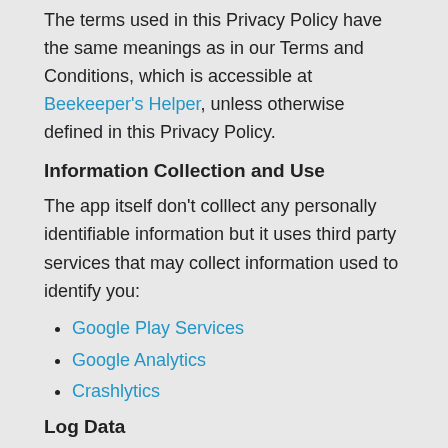The terms used in this Privacy Policy have the same meanings as in our Terms and Conditions, which is accessible at Beekeeper's Helper, unless otherwise defined in this Privacy Policy.
Information Collection and Use
The app itself don't colllect any personally identifiable information but it uses third party services that may collect information used to identify you:
Google Play Services
Google Analytics
Crashlytics
Log Data
I want to inform you that whenever you use my Service, in case of an error in the app I collect data and information (through third party products) on your phone called Log Data. This Log Data may include information such as your devices's Internet